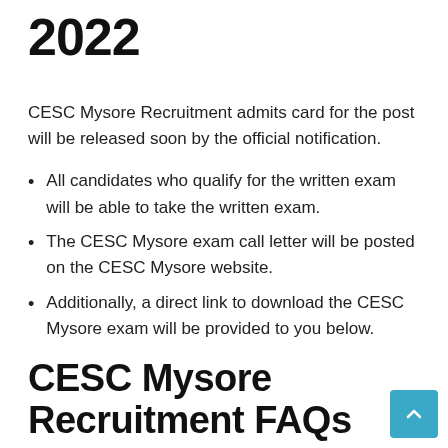2022
CESC Mysore Recruitment admits card for the post will be released soon by the official notification.
All candidates who qualify for the written exam will be able to take the written exam.
The CESC Mysore exam call letter will be posted on the CESC Mysore website.
Additionally, a direct link to download the CESC Mysore exam will be provided to you below.
CESC Mysore Recruitment FAQs
Is there any update regarding the exam date of